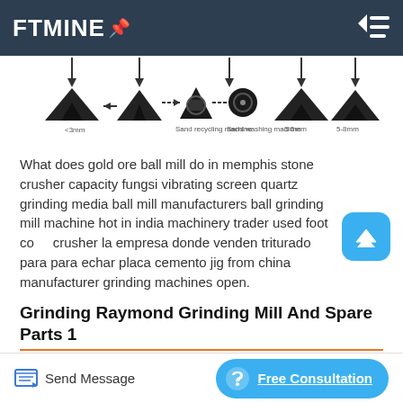FTMINE
[Figure (schematic): Sand processing flow diagram showing conveyor arrows feeding into piles of material with labels: <3mm, Sand recycling machine, Sand washing machine, 3-5mm, 5-8mm]
What does gold ore ball mill do in memphis stone crusher capacity fungsi vibrating screen quartz grinding media ball mill manufacturers ball grinding mill machine hot in india machinery trader used foot cone crusher la empresa donde venden triturado para para echar placa cemento jig from china manufacturer grinding machines open.
Grinding Raymond Grinding Mill And Spare Parts 1
Send Message
Free Consultation